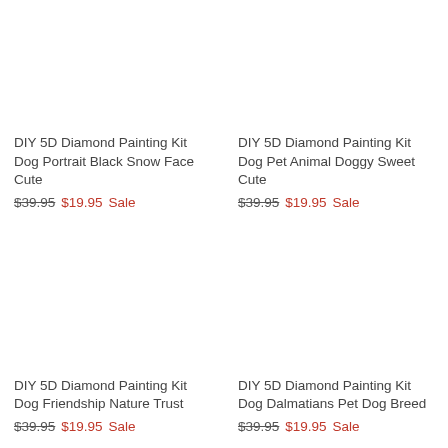DIY 5D Diamond Painting Kit Dog Portrait Black Snow Face Cute
$39.95 $19.95 Sale
DIY 5D Diamond Painting Kit Dog Pet Animal Doggy Sweet Cute
$39.95 $19.95 Sale
DIY 5D Diamond Painting Kit Dog Friendship Nature Trust
$39.95 $19.95 Sale
DIY 5D Diamond Painting Kit Dog Dalmatians Pet Dog Breed
$39.95 $19.95 Sale